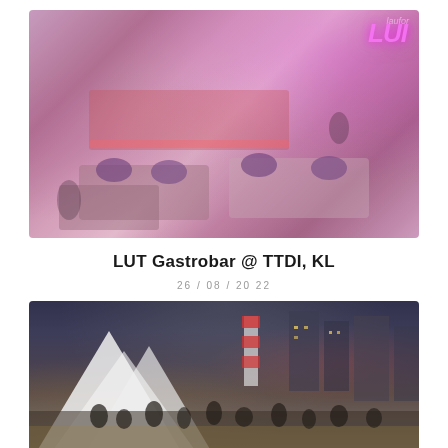[Figure (photo): Interior of LUT Gastrobar at TTDI, KL — dimly lit restaurant with purple/pink neon ambiance, dining tables set with silverware, an open kitchen in the background, neon LUT signage on the right wall, colorful mural artwork]
LUT Gastrobar @ TTDI, KL
26/08/2022
[Figure (photo): Outdoor nighttime event or market scene with large white tent/canopy structure in the foreground, crowd of people, city buildings with lights in the background, a red and white lighthouse-like structure visible]